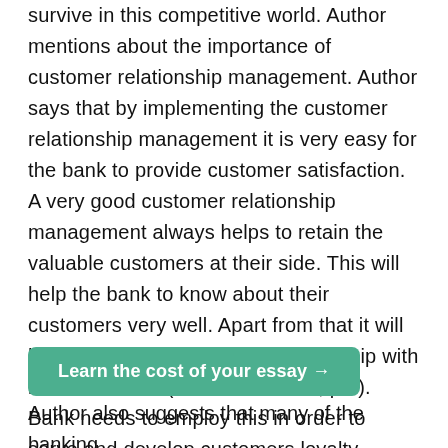survive in this competitive world. Author mentions about the importance of customer relationship management. Author says that by implementing the customer relationship management it is very easy for the bank to provide customer satisfaction. A very good customer relationship management always helps to retain the valuable customers at their side. This will help the bank to know about their customers very well. Apart from that it will helps to build “long-lasting relationship with its customers.” (Hammond 2009, p.3). Bank needs to employ this in order to serve and develop customers loyalty efficiently. Author point out that “CRM is a comprehensive strategy and the process of acquiring, retaining, and partnering with selective customers to create superior value for the company and the customer.” (Hammond
[Figure (other): Green button with text 'Learn the cost of your essay →']
Author also suggests that many of the banking